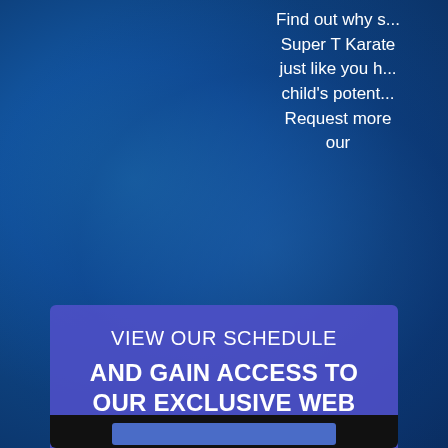Find out why s... Super T Karate just like you h... child's potent... Request more our
VIEW OUR SCHEDULE AND GAIN ACCESS TO OUR EXCLUSIVE WEB SPECIAL